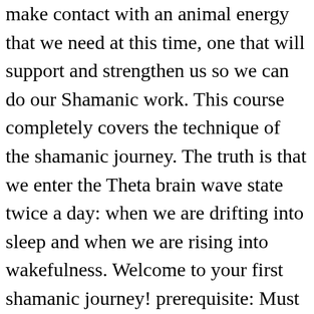make contact with an animal energy that we need at this time, one that will support and strengthen us so we can do our Shamanic work. This course completely covers the technique of the shamanic journey. The truth is that we enter the Theta brain wave state twice a day: when we are drifting into sleep and when we are rising into wakefulness. Welcome to your first shamanic journey! prerequisite: Must have taken a basic Shamanic Journey class and have 1 or more trusted spirit helpers. The shamanic journey is the perfect tool to fully integrate the healing of your soul. From the